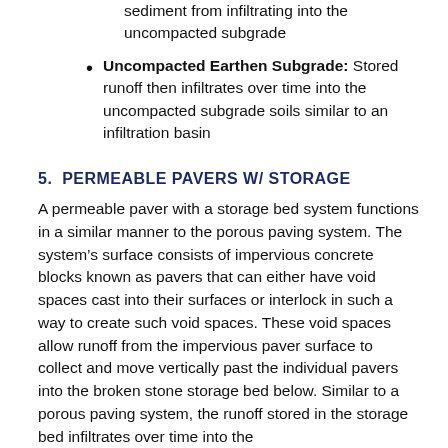sediment from infiltrating into the uncompacted subgrade
Uncompacted Earthen Subgrade: Stored runoff then infiltrates over time into the uncompacted subgrade soils similar to an infiltration basin
5.  PERMEABLE PAVERS W/ STORAGE
A permeable paver with a storage bed system functions in a similar manner to the porous paving system. The system’s surface consists of impervious concrete blocks known as pavers that can either have void spaces cast into their surfaces or interlock in such a way to create such void spaces. These void spaces allow runoff from the impervious paver surface to collect and move vertically past the individual pavers into the broken stone storage bed below. Similar to a porous paving system, the runoff stored in the storage bed infiltrates over time into the